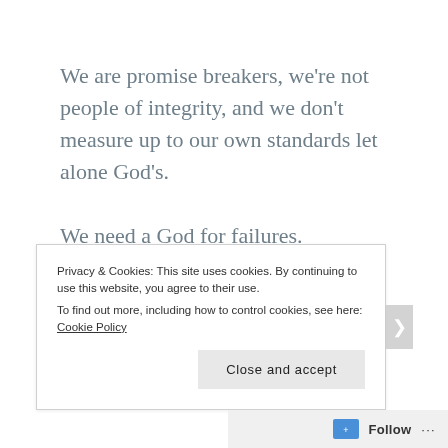We are promise breakers, we’re not people of integrity, and we don’t measure up to our own standards let alone God’s.
We need a God for failures.
And that's exactly what we have.
Jesus Christ joined the human race so he could become our substitute.
Privacy & Cookies: This site uses cookies. By continuing to use this website, you agree to their use. To find out more, including how to control cookies, see here: Cookie Policy
Close and accept
Follow